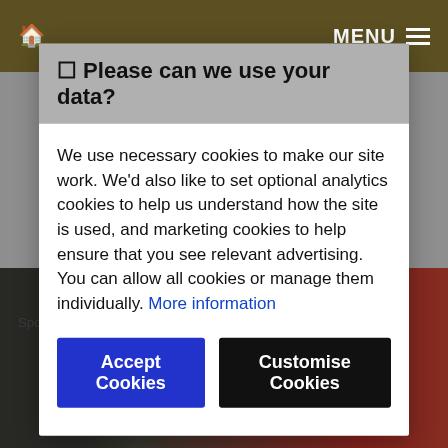🏠  MENU ☰
[Figure (photo): Background food/cooking photo partially visible behind modal, with dark background on left and red tomato/vegetable on right]
Spon
🔒 Please can we use your data?
We use necessary cookies to make our site work. We'd also like to set optional analytics cookies to help us understand how the site is used, and marketing cookies to help ensure that you see relevant advertising. You can allow all cookies or manage them individually. More information
Accept Cookies
Customise Cookies